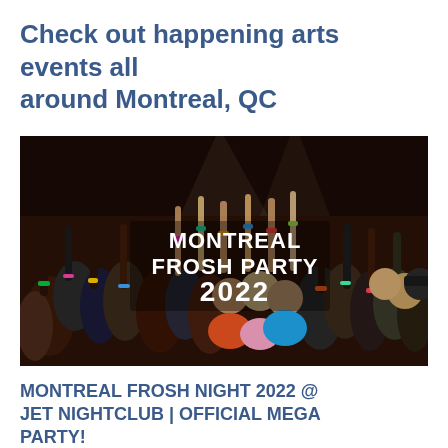Check out happening arts events all around Montreal, QC
[Figure (photo): Crowd of young people at a party with text overlay reading 'MONTREAL FROSH PARTY 2022']
MONTREAL FROSH NIGHT 2022 @ JET NIGHTCLUB | OFFICIAL MEGA PARTY!
Fri Sep 09, 2022 at 10:00 pm